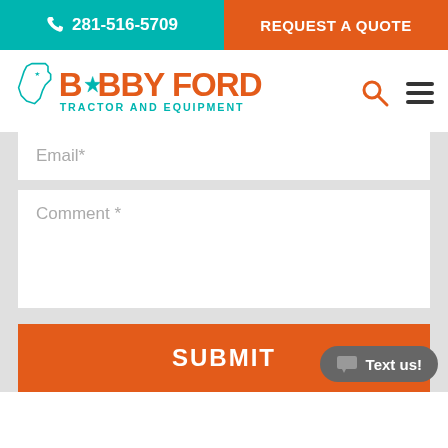281-516-5709 | REQUEST A QUOTE
[Figure (logo): Bobby Ford Tractor and Equipment logo with Texas state outline and star]
Email*
Comment *
SUBMIT
Text us!